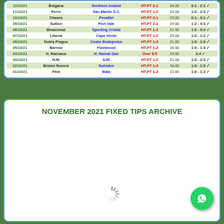| Date | Home | Away | Tip | Odds | Result |
| --- | --- | --- | --- | --- | --- |
| 12/10/21 | Bulgana | Northern Ireland | HT-FT 2-1 | 34.00 | 0:1 - 2:1 ✓ |
| 11/10/21 | Ferro | San Martin S.J. | HT-FT 1-2 | 34.00 | 1:0 - 2:3 ✓ |
| 10/10/21 | Chaves | Penafiel | HT-FT 2-1 | 23.00 | 0:1 - 3:1 ✓ |
| 09/10/21 | Sutton | Port Vale | HT-FT 2-1 | 29.00 | 1:2 - 4:3 ✓ |
| 08/10/21 | Binacional | Sporting Cristal | HT-FT 1-2 | 21.00 | 1:0 - 3:4 ✓ |
| 07/10/21 | Liberia | Cape Verde | HT-FT 1-2 | 29.00 | 1:0 - 1:2 ✓ |
| 06/10/21 | Dukla Prague | Ceske Budejovice | HT-FT 1-2 | 21.00 | 1:0 - 1:3 ✓ |
| 05/10/21 | Barrow | Fleetwood | HT-FT 1-2 | 34.00 | 1:0 - 1:3 ✓ |
| 04/10/21 | H. Raenana | H. Ramat Gan | Over 6.5 | 29.00 | 3:4 ✓ |
| 03/10/21 | HJK | SJK | HT-FT 1-2 | 51.00 | 1:0 - 2:3 ✓ |
| 02/10/21 | Bristol Rovers | Swindon | HT-FT 1-2 | 34.00 | 1:0 - 1:3 ✓ |
| 01/10/21 | Flint | Bala | HT-FT 1-2 | 23.00 | 1:0 - 1:2 ✓ |
NOVEMBER 2021 FIXED TIPS ARCHIVE
[Figure (other): Loading spinner animation]
[Figure (logo): WhatsApp contact button (green circle with phone icon)]